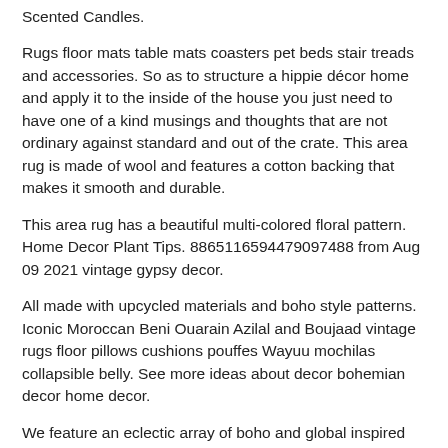Scented Candles.
Rugs floor mats table mats coasters pet beds stair treads and accessories. So as to structure a hippie décor home and apply it to the inside of the house you just need to have one of a kind musings and thoughts that are not ordinary against standard and out of the crate. This area rug is made of wool and features a cotton backing that makes it smooth and durable.
This area rug has a beautiful multi-colored floral pattern. Home Decor Plant Tips. 8865116594479097488 from Aug 09 2021 vintage gypsy decor.
All made with upcycled materials and boho style patterns. Iconic Moroccan Beni Ouarain Azilal and Boujaad vintage rugs floor pillows cushions pouffes Wayuu mochilas collapsible belly. See more ideas about decor bohemian decor home decor.
We feature an eclectic array of boho and global inspired items such as Fair Trade home decor handmade jewelry healing gems and more. Wayfairde has been visited by 100k users in the past month Täglich bis zu 70 sparen. Vintage Gypsy Decor.